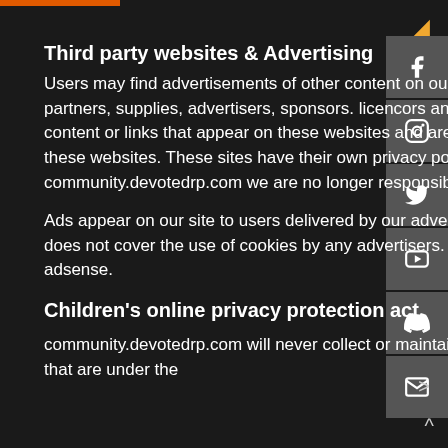Third party websites & Advertising
Users may find advertisements of other content on our site. That links to the site and services of our partners, supplies, advertisers, sponsors. licencors and other third parties. We do not control the content or links that appear on these websites and are not responsible for the practices deployed by these websites. These sites have their own privacy policies such and once off community.devotedrp.com we are no longer responsible for their, the users, third parties actions.
Ads appear on our site to users delivered by our advertising partners who may set cookies. This policy does not cover the use of cookies by any advertisers. Some of these ads may be served by google adsense.
Children's online privacy protection act
community.devotedrp.com will never collect or maintain information at our site from those we know that are under the